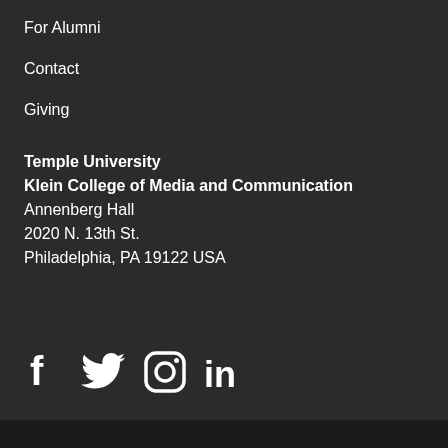For Alumni
Contact
Giving
Temple University
Klein College of Media and Communication
Annenberg Hall
2020 N. 13th St.
Philadelphia, PA 19122 USA
[Figure (infographic): Social media icons: Facebook, Twitter, Instagram, LinkedIn]